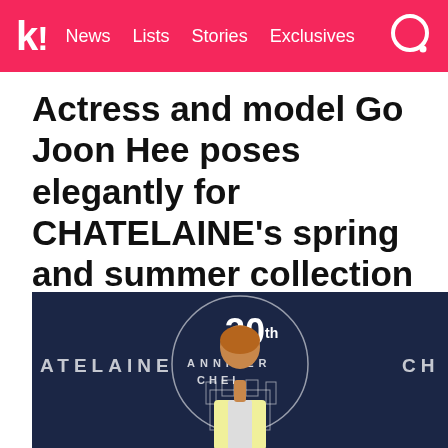k! News Lists Stories Exclusives
Actress and model Go Joon Hee poses elegantly for CHATELAINE’s spring and summer collection
[Figure (photo): Go Joon Hee posing in front of a CHATELAINE 30th Anniversary backdrop, wearing a light yellow jacket]